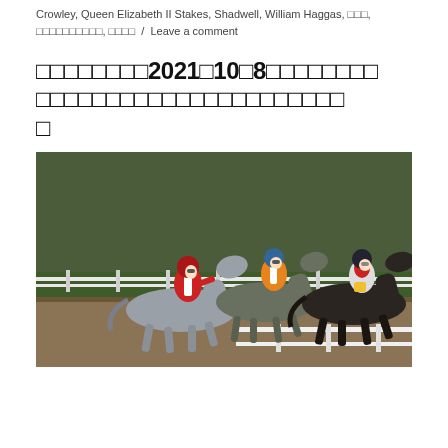Crowley, Queen Elizabeth II Stakes, Shadwell, William Haggas, □□□, □□□□□□□□□□, □□□□ / Leave a comment
□□□□□□□□2021□10□8□□□□□□□□□□□□□□□□□□□□□□□□□□□□□
[Figure (photo): Horse race photo showing jockeys on horseback racing on a dirt track. A grey horse with a jockey in red/white silks leads on the left, alongside another horse with jockey in orange/white silks, and a dark horse with jockey in red/white silks on the right. Green grass and white rail fencing visible in background.]